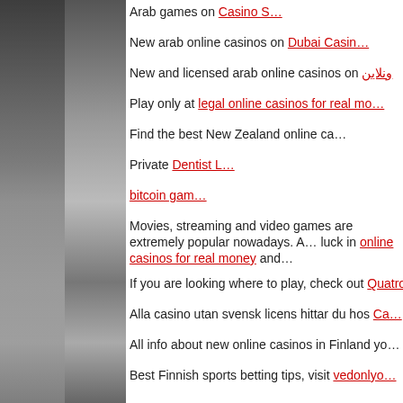Arab games on Casino S…
New arab online casinos on Dubai Casin…
New and licensed arab online casinos on ونلاين
Play only at legal online casinos for real mo…
Find the best New Zealand online ca…
Private Dentist L…
bitcoin gam…
Movies, streaming and video games are extremely popular nowadays. A… luck in online casinos for real money and…
If you are looking where to play, check out Quatro Casino C…
Alla casino utan svensk licens hittar du hos Ca…
All info about new online casinos in Finland yo…
Best Finnish sports betting tips, visit vedonlyo…